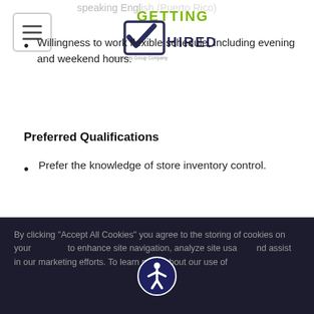[Figure (logo): Getting Hired logo - an Allegis Group Company, with green checkmark]
speaking English (Puerto Rico)
Willingness to work flexible schedule, including evening and weekend hours.
Preferred Qualifications
Prefer the knowledge of store inventory control.
The following information is applicable for San Francisco, CA applicants: Pursuant to the San Francisco Fair Chance Ordinance, we will consider for employment qualified applicants with arrest and conviction records.
An Equal Opportunity Employer, including
By clicking “Accept All Cookies” you agree to the storing of cookies on your device to enhance site navigation, analyze site usage and assist in our marketing efforts. To learn more about our use of